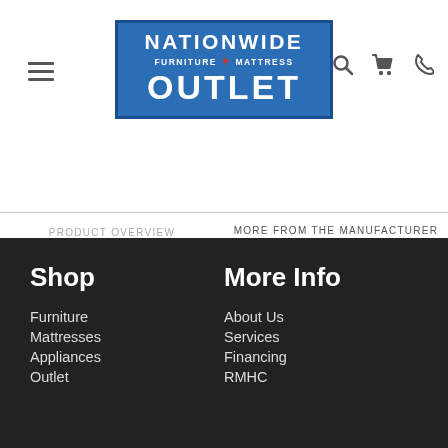[Figure (logo): Nationwide Furniture Mattress Outlet logo — blue rectangle with white bold text]
PRODUCT OVERVIEW
MORE FROM THE MANUFACTURER
Shop
Furniture
Mattresses
Appliances
Outlet
More Info
About Us
Services
Financing
RMHC